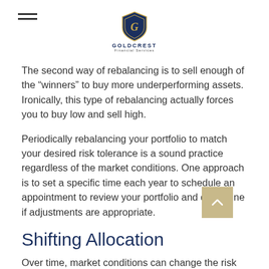GOLDCREST Financial Services
The second way of rebalancing is to sell enough of the “winners” to buy more underperforming assets. Ironically, this type of rebalancing actually forces you to buy low and sell high.
Periodically rebalancing your portfolio to match your desired risk tolerance is a sound practice regardless of the market conditions. One approach is to set a specific time each year to schedule an appointment to review your portfolio and determine if adjustments are appropriate.
Shifting Allocation
Over time, market conditions can change the risk